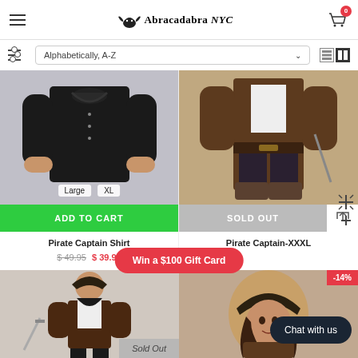Abracadabra NYC - navigation header with cart (0 items)
Alphabetically, A-Z - sort dropdown
[Figure (screenshot): Product card: Pirate Captain Shirt, black ruffled shirt costume, sizes Large and XL available, ADD TO CART button, price $49.95 sale $39.95]
[Figure (screenshot): Product card: Pirate Captain-XXXL, brown pirate costume, SOLD OUT button]
Pirate Captain Shirt
$ 49.95   $ 39.95
Pirate Captain-XXXL
Win a $100 Gift Card
[Figure (screenshot): Bottom left: pirate costume product with Sold Out overlay, figure of man dressed as pirate captain with sword]
[Figure (screenshot): Bottom right: costume product with -14% badge, woman wearing pirate hat, Chat with us bubble overlay]